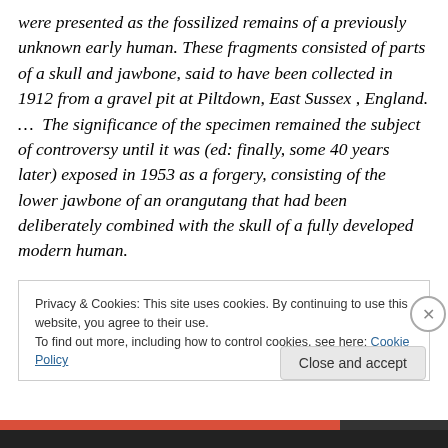were presented as the fossilized remains of a previously unknown early human. These fragments consisted of parts of a skull and jawbone, said to have been collected in 1912 from a gravel pit at Piltdown, East Sussex , England. …  The significance of the specimen remained the subject of controversy until it was (ed: finally, some 40 years later) exposed in 1953 as a forgery, consisting of the lower jawbone of an orangutang that had been deliberately combined with the skull of a fully developed modern human.
Privacy & Cookies: This site uses cookies. By continuing to use this website, you agree to their use.
To find out more, including how to control cookies, see here: Cookie Policy